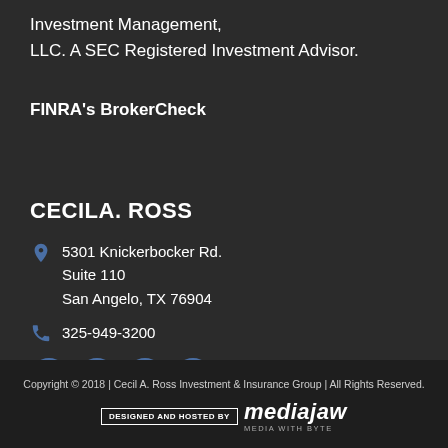Investment Management, LLC. A SEC Registered Investment Advisor.
FINRA's BrokerCheck
CECILA. ROSS
5301 Knickerbocker Rd. Suite 110 San Angelo, TX 76904
325-949-3200
[Figure (other): Social media icons: Facebook, Twitter, Instagram, LinkedIn]
Copyright © 2018 | Cecil A. Ross Investment & Insurance Group | All Rights Reserved.
[Figure (logo): DESIGNED AND HOSTED BY mediajaw MEDIA WITH BYTE logo]